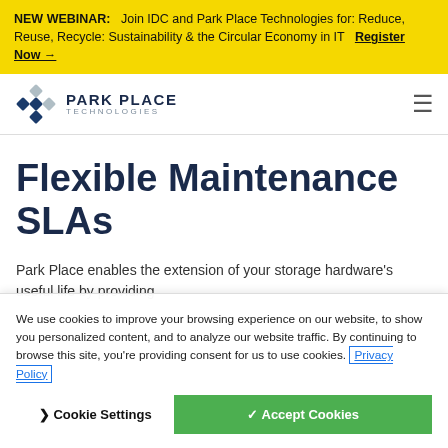NEW WEBINAR: Join IDC and Park Place Technologies for: Reduce, Reuse, Recycle: Sustainability & the Circular Economy in IT Register Now →
[Figure (logo): Park Place Technologies logo with blue diamond grid icon and company name]
Flexible Maintenance SLAs
Park Place enables the extension of your storage hardware's useful life by providing
We use cookies to improve your browsing experience on our website, to show you personalized content, and to analyze our website traffic. By continuing to browse this site, you're providing consent for us to use cookies. Privacy Policy
Cookie Settings  ✓ Accept Cookies